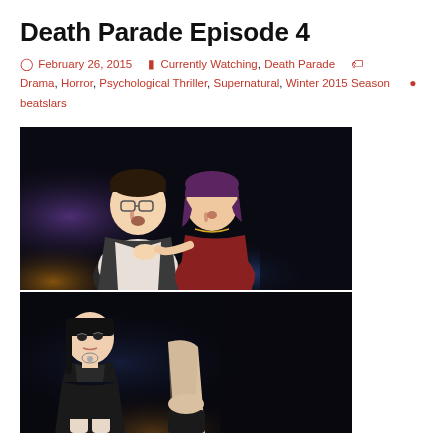Death Parade Episode 4
February 26, 2015   Currently Watching, Death Parade   Drama, Horror, Psychological Thriller, Supernatural, Winter 2015 Season   beatslars
[Figure (illustration): Anime screenshot from Death Parade Episode 4 showing two characters, a man with glasses and a woman, both looking frightened in a dark setting.]
[Figure (illustration): Anime screenshot from Death Parade Episode 4 showing a dark-haired female character in black clothing looking to the side in a dark setting, with another figure partially visible.]